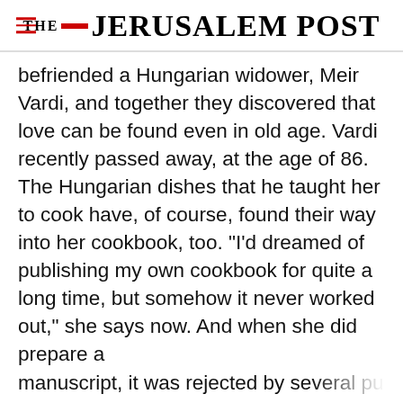THE JERUSALEM POST
befriended a Hungarian widower, Meir Vardi, and together they discovered that love can be found even in old age. Vardi recently passed away, at the age of 86. The Hungarian dishes that he taught her to cook have, of course, found their way into her cookbook, too. "I'd dreamed of publishing my own cookbook for quite a long time, but somehow it never worked out," she says now. And when she did prepare a manuscript, it was rejected by several publishing
Advertisement